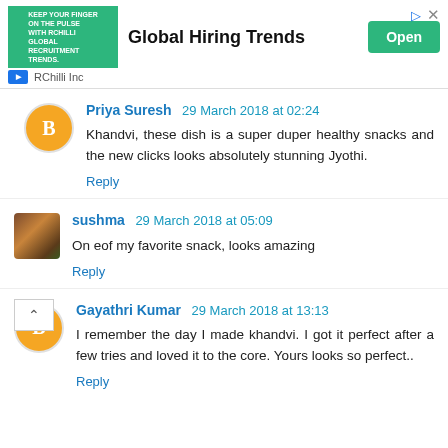[Figure (screenshot): Advertisement banner for RChilli Inc promoting Global Hiring Trends with a green Open button]
Priya Suresh 29 March 2018 at 02:24
Khandvi, these dish is a super duper healthy snacks and the new clicks looks absolutely stunning Jyothi.
Reply
sushma 29 March 2018 at 05:09
On eof my favorite snack, looks amazing
Reply
Gayathri Kumar 29 March 2018 at 13:13
I remember the day I made khandvi. I got it perfect after a few tries and loved it to the core. Yours looks so perfect..
Reply